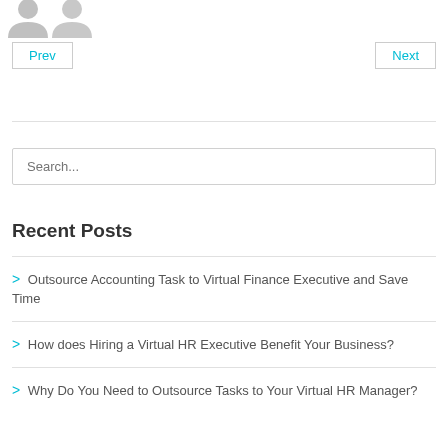[Figure (illustration): Two grey avatar/silhouette figures at top left of page]
Prev
Next
Search...
Recent Posts
> Outsource Accounting Task to Virtual Finance Executive and Save Time
> How does Hiring a Virtual HR Executive Benefit Your Business?
> Why Do You Need to Outsource Tasks to Your Virtual HR Manager?